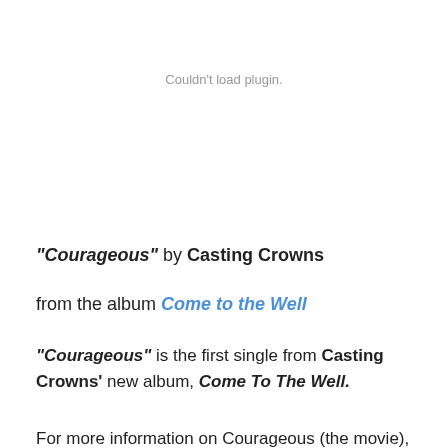Couldn't load plugin.
"Courageous" by Casting Crowns
from the album Come to the Well
"Courageous" is the first single from Casting Crowns' new album, Come To The Well.
For more information on Courageous (the movie), visit http://courageousthemovie.com.